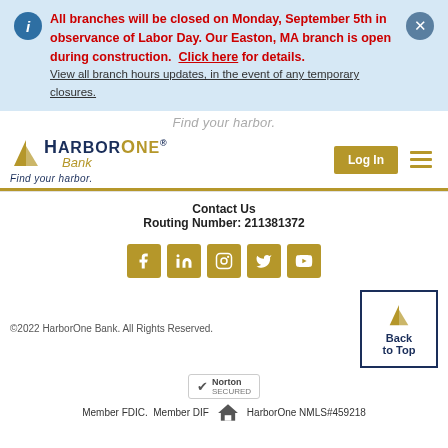All branches will be closed on Monday, September 5th in observance of Labor Day. Our Easton, MA branch is open during construction. Click here for details. View all branch hours updates, in the event of any temporary closures.
[Figure (logo): HarborOne Bank logo with sailboat icon and tagline 'Find your harbor.']
Log In
Contact Us
Routing Number: 211381372
[Figure (infographic): Social media icons: Facebook, LinkedIn, Instagram, Twitter, YouTube — all gold colored]
©2022 HarborOne Bank. All Rights Reserved.
[Figure (logo): Norton Secured badge]
Back to Top
Member FDIC. Member DIF. HarborOne NMLS#459218